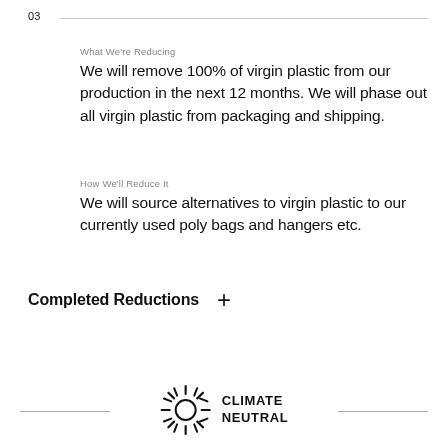03
What We're Reducing
We will remove 100% of virgin plastic from our production in the next 12 months. We will phase out all virgin plastic from packaging and shipping.
How We'll Reduce It
We will source alternatives to virgin plastic to our currently used poly bags and hangers etc.
Completed Reductions +
[Figure (logo): Climate Neutral logo with sun/radiant lines icon and bold text reading CLIMATE NEUTRAL]